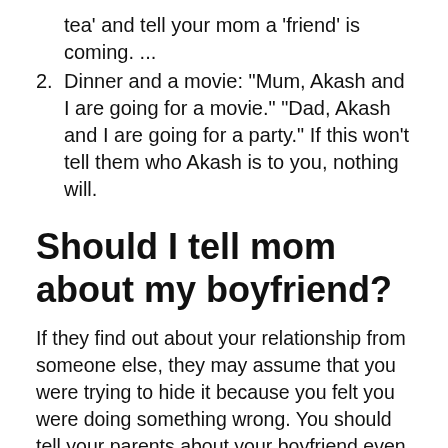tea' and tell your mom a 'friend' is coming. ...
Dinner and a movie: "Mum, Akash and I are going for a movie." "Dad, Akash and I are going for a party." If this won't tell them who Akash is to you, nothing will.
Should I tell mom about my boyfriend?
If they find out about your relationship from someone else, they may assume that you were trying to hide it because you felt you were doing something wrong. You should tell your parents about your boyfriend even if you do not plan to make any formal